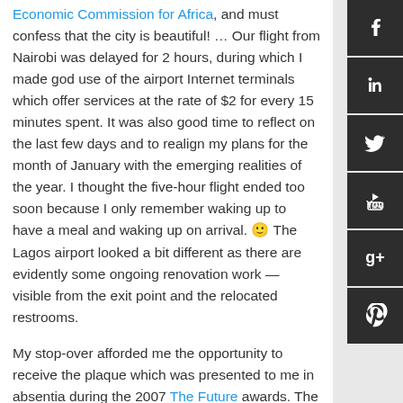Economic Commission for Africa, and must confess that the city is beautiful! … Our flight from Nairobi was delayed for 2 hours, during which I made god use of the airport Internet terminals which offer services at the rate of $2 for every 15 minutes spent. It was also good time to reflect on the last few days and to realign my plans for the month of January with the emerging realities of the year. I thought the five-hour flight ended too soon because I only remember waking up to have a meal and waking up on arrival. 🙂 The Lagos airport looked a bit different as there are evidently some ongoing renovation work — visible from the exit point and the relocated restrooms.
My stop-over afforded me the opportunity to receive the plaque which was presented to me in absentia during the 2007 The Future awards. The award is increasingly becoming the de facto youth celebration event, and the promos were everywhere just before I left for Uganda. Kudos to the entire RedStrat team that keeps increasing the tempo of the award while keeping the desire to be better on the minds of young Nigerians. I had won the Best Use of Technology category at the maiden edition
[Figure (other): Social media sidebar buttons: Facebook, LinkedIn, Twitter, YouTube, Google+, Pinterest]